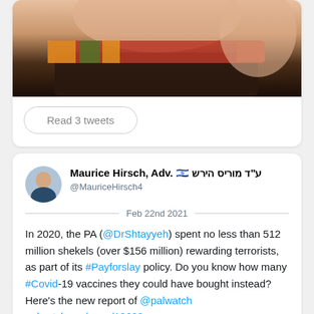[Figure (photo): Partial photo of a person's head with a colorful headband/scarf, cropped at top]
Read 3 tweets
[Figure (photo): Twitter avatar of Maurice Hirsch - man in suit]
Maurice Hirsch, Adv. 🇮🇱 ע"ד מוריס הירש
@MauriceHirsch4
Feb 22nd 2021
In 2020, the PA (@DrShtayyeh) spent no less than 512 million shekels (over $156 million) rewarding terrorists, as part of its #Payforslay policy. Do you know how many #Covid-19 vaccines they could have bought instead? Here's the new report of @palwatch palwatch.org/page/18603
Trying to fool the world, the PA is trying to hide the